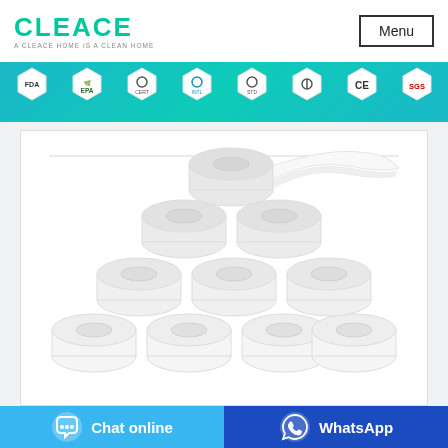CLEACE - A CLEACE HOME IS A CLEAN HOME | Menu
[Figure (infographic): Certification badge banner showing FDA, EPA, and 6 other certification hexagon badges on a teal/cyan background]
[Figure (photo): Product photo showing a pyramid stack of white toilet paper rolls arranged in a triangular pattern with one roll unrolling at the top, on a white background]
Chat online
WhatsApp